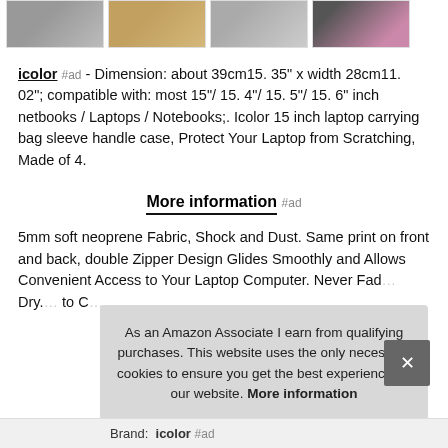[Figure (photo): Four thumbnail images of laptop bags in a horizontal strip]
icolor #ad - Dimension: about 39cm15. 35" x width 28cm11. 02"; compatible with: most 15"/ 15. 4"/ 15. 5"/ 15. 6" inch netbooks / Laptops / Notebooks;. Icolor 15 inch laptop carrying bag sleeve handle case, Protect Your Laptop from Scratching, Made of 4.
More information #ad
5mm soft neoprene Fabric, Shock and Dust. Same print on front and back, double Zipper Design Glides Smoothly and Allows Convenient Access to Your Laptop Computer. Never Fad... Dry... to C...
As an Amazon Associate I earn from qualifying purchases. This website uses the only necessary cookies to ensure you get the best experience on our website. More information
Brand: icolor #ad